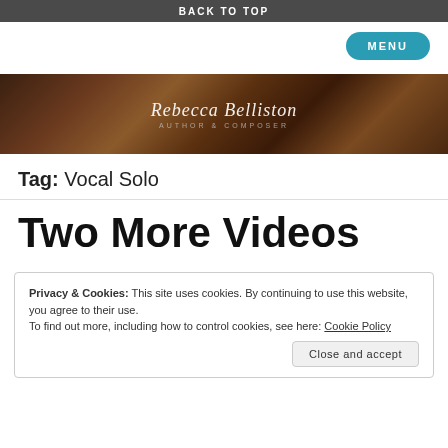BACK TO TOP
[Figure (illustration): Teal rounded rectangle MENU button in top right navigation area]
[Figure (illustration): Rebecca Belliston – Author & Composer banner with dark wood texture background]
Tag: Vocal Solo
Two More Videos
Privacy & Cookies: This site uses cookies. By continuing to use this website, you agree to their use.
To find out more, including how to control cookies, see here: Cookie Policy
Close and accept